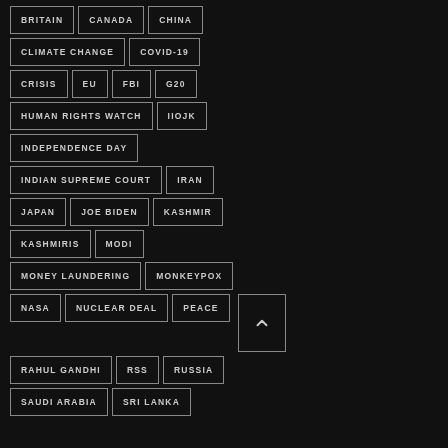BRITAIN
CANADA
CHINA
CLIMATE CHANGE
COVID-19
CRISIS
EU
FBI
G20
HUMAN RIGHTS WATCH
IIOJK
INDEPENDENCE DAY
INDIAN SUPREME COURT
IRAN
JAPAN
JOE BIDEN
KASHMIR
KASHMIRIS
MODI
MONEY LAUNDERING
MONKEYPOX
NASA
NUCLEAR DEAL
PEACE
RAHUL GANDHI
RSS
RUSSIA
SAUDI ARABIA
SRI LANKA